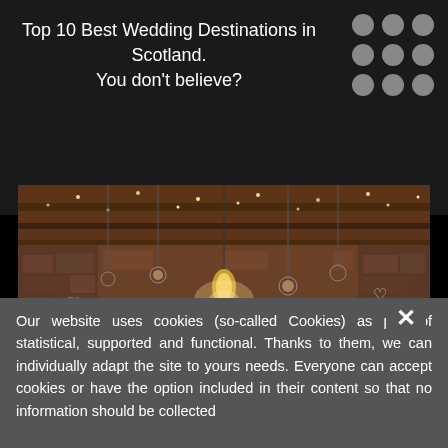Top 10 Best Wedding Destinations in Scotland. You don't believe?
[Figure (photo): Indoor wedding ceremony in a rustic stone barn venue decorated with hanging lights, glass orbs, and heart-shaped decorations. A couple stands at the altar with an officiant, surrounded by seated guests.]
Our website uses cookies (so-called Cookies) as part of statistical, supported and functional. Thanks to them, we can individually adapt the site to yours needs. Everyone can accept cookies or have the option included in their content so that no information should be collected